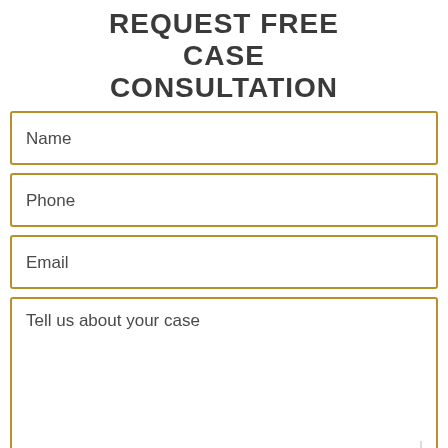REQUEST FREE CASE CONSULTATION
Name
Phone
Email
Tell us about your case
EMAIL  VIEW MAP  CALL